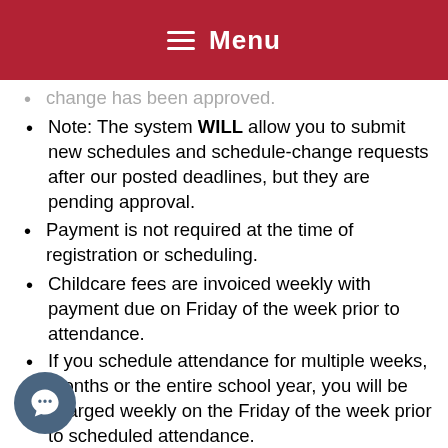Menu
change has been approved. (truncated/faded)
Note: The system WILL allow you to submit new schedules and schedule-change requests after our posted deadlines, but they are pending approval.
Payment is not required at the time of registration or scheduling.
Childcare fees are invoiced weekly with payment due on Friday of the week prior to attendance.
If you schedule attendance for multiple weeks, months or the entire school year, you will be charged weekly on the Friday of the week prior to scheduled attendance.
A convenient, weekly automatic payment option is available to all families.
The system will automatically process the (truncated)